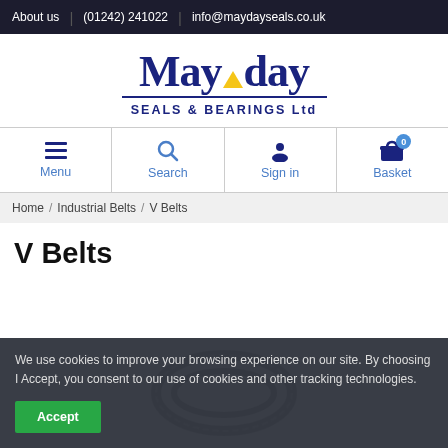About us  |  (01242) 241022  |  info@maydayseals.co.uk
[Figure (logo): Mayday Seals & Bearings Ltd logo with navy blue text and yellow triangle accent]
[Figure (infographic): Navigation bar with Menu, Search, Sign in, and Basket icons]
Home / Industrial Belts / V Belts
V Belts
We use cookies to improve your browsing experience on our site. By choosing I Accept, you consent to our use of cookies and other tracking technologies.
Accept